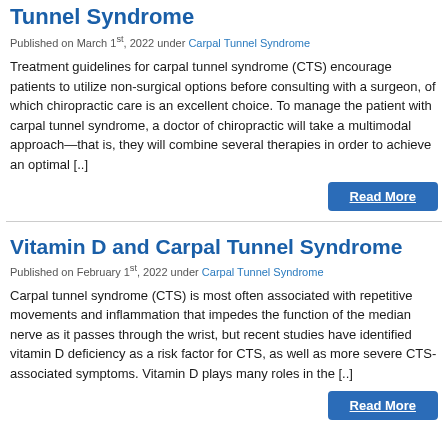Tunnel Syndrome
Published on March 1st, 2022 under Carpal Tunnel Syndrome
Treatment guidelines for carpal tunnel syndrome (CTS) encourage patients to utilize non-surgical options before consulting with a surgeon, of which chiropractic care is an excellent choice. To manage the patient with carpal tunnel syndrome, a doctor of chiropractic will take a multimodal approach—that is, they will combine several therapies in order to achieve an optimal [..]
Read More
Vitamin D and Carpal Tunnel Syndrome
Published on February 1st, 2022 under Carpal Tunnel Syndrome
Carpal tunnel syndrome (CTS) is most often associated with repetitive movements and inflammation that impedes the function of the median nerve as it passes through the wrist, but recent studies have identified vitamin D deficiency as a risk factor for CTS, as well as more severe CTS-associated symptoms. Vitamin D plays many roles in the [..]
Read More